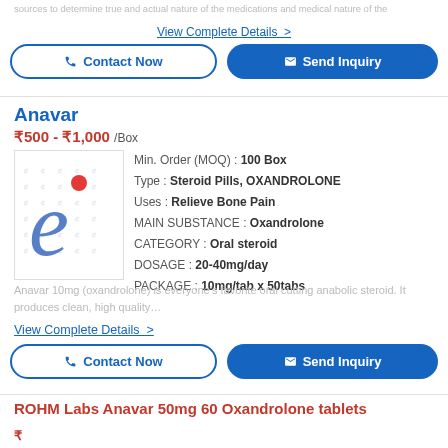View Complete Details >
[Figure (illustration): Contact Now button (outlined blue) and Send Inquiry button (solid blue)]
Anavar
₹500 - ₹1,000 /Box
[Figure (logo): Product thumbnail showing stylized blue italic 'e' logo with red dot on white background with watermark pattern]
Min. Order (MOQ): 100 Box
Type: Steroid Pills, OXANDROLONE
Uses: Relieve Bone Pain
MAIN SUBSTANCE: Oxandrolone
CATEGORY: Oral steroid
DOSAGE: 20-40mg/day
PACKAGE: 10mg/tab x 50tabs
Anavar 10mg (oxandrolone) is everyone's favorite oral cutting anabolic steroid. It produces clean, high quality…
View Complete Details >
[Figure (illustration): Contact Now button (outlined blue) and Send Inquiry button (solid blue)]
ROHM Labs Anavar 50mg 60 Oxandrolone tablets